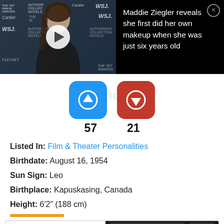[Figure (screenshot): Video thumbnail showing Maddie Ziegler at an event with WSJ and Cartier logos in background, with a play button overlay. Text reads: Maddie Ziegler reveals she first did her own makeup when she was just six years old]
57   21
Listed In: Film & Theater Personalities
Birthdate: August 16, 1954
Sun Sign: Leo
Birthplace: Kapuskasing, Canada
Height: 6'2" (188 cm)
Celebrities Born On My Birthday?  Enter Your DOB  GO